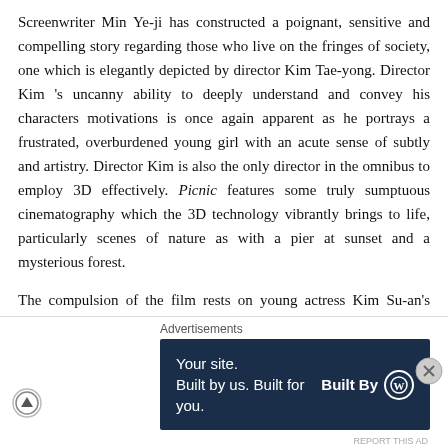Screenwriter Min Ye-ji has constructed a poignant, sensitive and compelling story regarding those who live on the fringes of society, one which is elegantly depicted by director Kim Tae-yong. Director Kim’s uncanny ability to deeply understand and convey his characters motivations is once again apparent as he portrays a frustrated, overburdened young girl with an acute sense of subtly and artistry. Director Kim is also the only director in the omnibus to employ 3D effectively. Picnic features some truly sumptuous cinematography which the 3D technology vibrantly brings to life, particularly scenes of nature as with a pier at sunset and a mysterious forest.

The compulsion of the film rests on young actress Kim Su-an’s shoulders, and she delivers wonderfully. Her performance is continually captivating and displays a quality that belies her youth, proving that her prior films, including
Advertisements
[Figure (other): Advertisement banner: dark navy background with text 'Your site. Built by us. Built for you.' on the left and 'Built By' with WordPress logo on the right.]